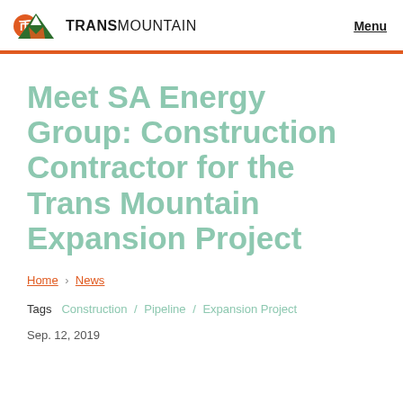TRANSMOUNTAIN | Menu
Meet SA Energy Group: Construction Contractor for the Trans Mountain Expansion Project
Home › News
Tags  Construction  /  Pipeline  /  Expansion Project
Sep. 12, 2019